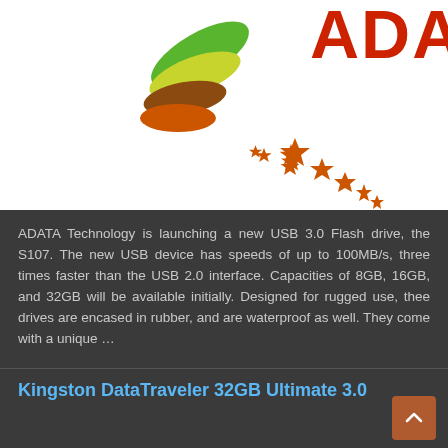[Figure (logo): ADATA Technology logo with colorful bird/leaf design on white background. Red 'ADATA' text partially visible top right, colorful green/yellow/brown/orange stylized bird with orange star shapes.]
ADATA Technology is launching a new USB 3.0 Flash drive, the S107. The new USB device has speeds of up to 100MB/s, three times faster than the USB 2.0 interface. Capacities of 8GB, 16GB, and 32GB will be available initially. Designed for rugged use, thee drives are encased in rubber, and are waterproof as well. They come with a unique …
Kingston DataTraveler 32GB Ultimate 3.0